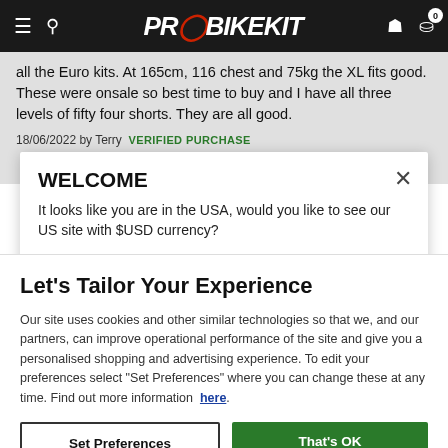PROBIKEKIT navigation bar
all the Euro kits. At 165cm, 116 chest and 75kg the XL fits good. These were onsale so best time to buy and I have all three levels of fifty four shorts. They are all good.
18/06/2022 by Terry VERIFIED PURCHASE
WELCOME
It looks like you are in the USA, would you like to see our US site with $USD currency?
Let’s Tailor Your Experience
Our site uses cookies and other similar technologies so that we, and our partners, can improve operational performance of the site and give you a personalised shopping and advertising experience. To edit your preferences select “Set Preferences” where you can change these at any time. Find out more information here.